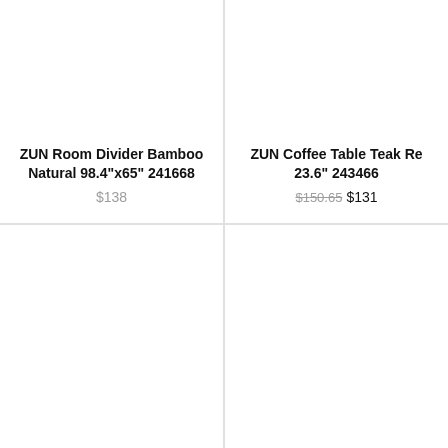ZUN Room Divider Bamboo Natural 98.4"x65" 241668
$138
ZUN Coffee Table Teak Re 23.6" 243466
$150.65 $131
NOTIFY WHEN AVAILABLE